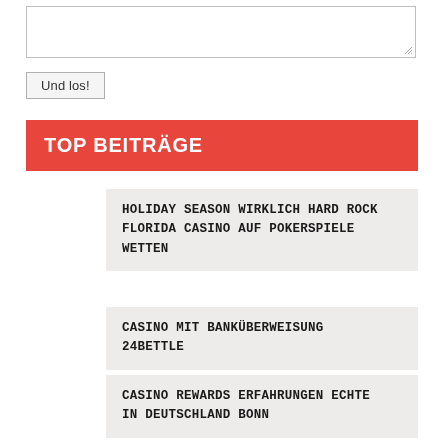[Figure (screenshot): Textarea input box with resize handle]
Und los!
TOP BEITRÄGE
HOLIDAY SEASON WIRKLICH HARD ROCK FLORIDA CASINO AUF POKERSPIELE WETTEN
CASINO MIT BANKÜBERWEISUNG 24BETTLE
CASINO REWARDS ERFAHRUNGEN ECHTE IN DEUTSCHLAND BONN